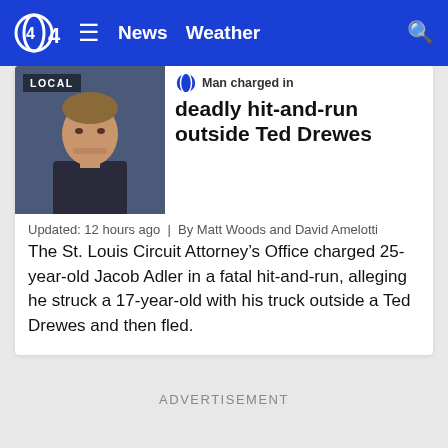CBS4 | News | Weather
[Figure (photo): Mugshot photo of Jacob Adler with LOCAL badge overlay, on blue background]
Man charged in deadly hit-and-run outside Ted Drewes
Updated: 12 hours ago  |  By Matt Woods and David Amelotti
The St. Louis Circuit Attorney’s Office charged 25-year-old Jacob Adler in a fatal hit-and-run, alleging he struck a 17-year-old with his truck outside a Ted Drewes and then fled.
ADVERTISEMENT